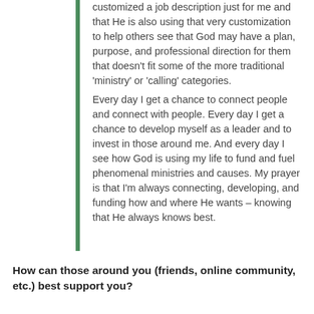customized a job description just for me and that He is also using that very customization to help others see that God may have a plan, purpose, and professional direction for them that doesn't fit some of the more traditional 'ministry' or 'calling' categories.
Every day I get a chance to connect people and connect with people. Every day I get a chance to develop myself as a leader and to invest in those around me. And every day I see how God is using my life to fund and fuel phenomenal ministries and causes. My prayer is that I'm always connecting, developing, and funding how and where He wants – knowing that He always knows best.
How can those around you (friends, online community, etc.) best support you?